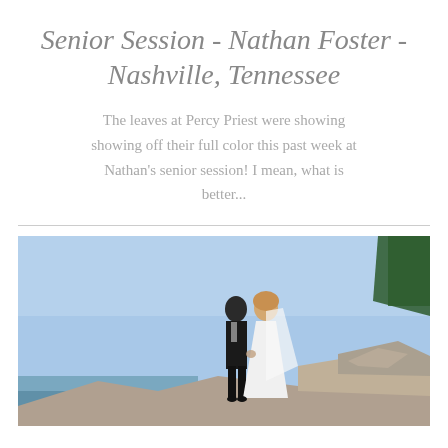Senior Session - Nathan Foster - Nashville, Tennessee
The leaves at Percy Priest were showing showing off their full color this past week at Nathan's senior session! I mean, what is better...
[Figure (photo): A couple standing on rocky outcrop against a clear blue sky. The man in a black suit holds hands with a woman in a white flowing dress and veil. Rocky terrain and distant landscape visible below.]